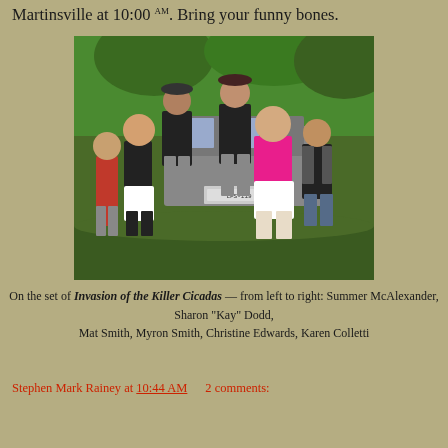Martinsville at 10:00 AM. Bring your funny bones.
[Figure (photo): Group photo of six people standing in front of a vehicle outdoors on grass with trees in the background. On the set of Invasion of the Killer Cicadas.]
On the set of Invasion of the Killer Cicadas — from left to right: Summer McAlexander, Sharon "Kay" Dodd, Mat Smith, Myron Smith, Christine Edwards, Karen Colletti
Stephen Mark Rainey at 10:44 AM    2 comments:
Share